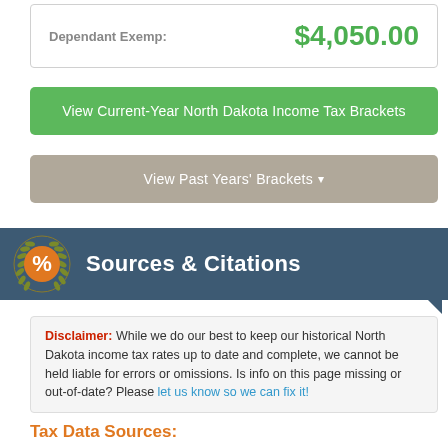| Dependant Exemp: |  |
| --- | --- |
| Dependant Exemp: | $4,050.00 |
View Current-Year North Dakota Income Tax Brackets
View Past Years' Brackets ▾
Sources & Citations
Disclaimer: While we do our best to keep our historical North Dakota income tax rates up to date and complete, we cannot be held liable for errors or omissions. Is info on this page missing or out-of-date? Please let us know so we can fix it!
Tax Data Sources: